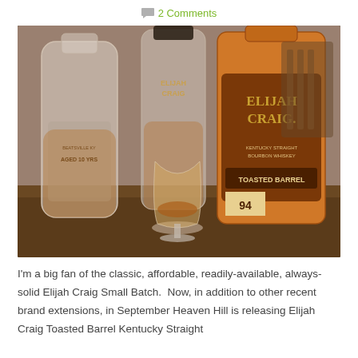2 Comments
[Figure (photo): Three bourbon whiskey bottles and a glencairn glass arranged on a wooden surface. Left bottle is a clear glass Bardstown Bourbon Company bottle aged 10 years. Center back is an Elijah Craig bottle. Right foreground is a large Elijah Craig Toasted Barrel Kentucky Straight Bourbon Whiskey bottle labeled 94 proof. A glencairn glass with amber whiskey sits in front center.]
I'm a big fan of the classic, affordable, readily-available, always-solid Elijah Craig Small Batch.  Now, in addition to other recent brand extensions, in September Heaven Hill is releasing Elijah Craig Toasted Barrel Kentucky Straight